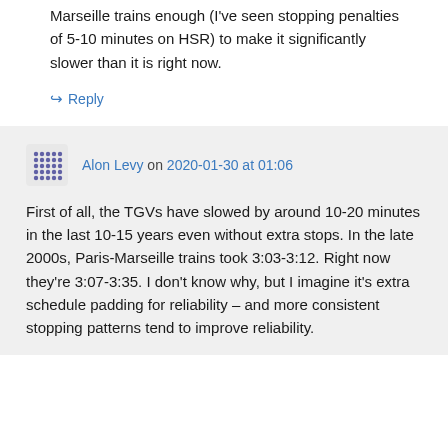Marseille trains enough (I've seen stopping penalties of 5-10 minutes on HSR) to make it significantly slower than it is right now.
↪ Reply
Alon Levy on 2020-01-30 at 01:06
First of all, the TGVs have slowed by around 10-20 minutes in the last 10-15 years even without extra stops. In the late 2000s, Paris-Marseille trains took 3:03-3:12. Right now they're 3:07-3:35. I don't know why, but I imagine it's extra schedule padding for reliability – and more consistent stopping patterns tend to improve reliability.